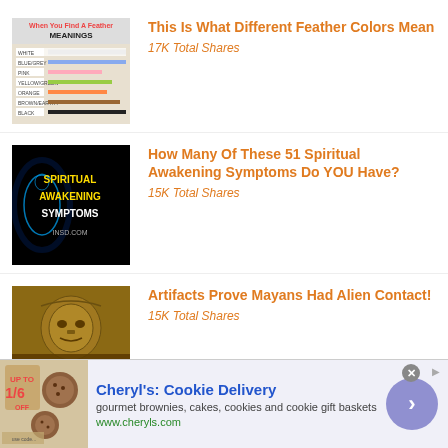[Figure (screenshot): Thumbnail image showing feather colors meanings infographic]
This Is What Different Feather Colors Mean
17K Total Shares
[Figure (screenshot): Dark thumbnail with glowing figure and text Spiritual Awakening Symptoms INSD.COM]
How Many Of These 51 Spiritual Awakening Symptoms Do YOU Have?
15K Total Shares
[Figure (screenshot): Brown thumbnail with Mayan artifact and text Artifacts Prove Mayans Had Alien Contact INSD.COM]
Artifacts Prove Mayans Had Alien Contact!
15K Total Shares
[Figure (screenshot): Ad banner image showing cookies and brownies with percentage off sign]
Cheryl's: Cookie Delivery
gourmet brownies, cakes, cookies and cookie gift baskets
www.cheryls.com